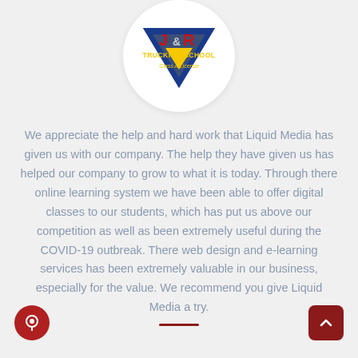[Figure (logo): J&R Trucking School Class A License logo — blue inverted triangle with red J&R text and yellow TRUCKING SCHOOL text, inside a white circle]
We appreciate the help and hard work that Liquid Media has given us with our company. The help they have given us has helped our company to grow to what it is today. Through there online learning system we have been able to offer digital classes to our students, which has put us above our competition as well as been extremely useful during the COVID-19 outbreak. There web design and e-learning services has been extremely valuable in our business, especially for the value. We recommend you give Liquid Media a try.